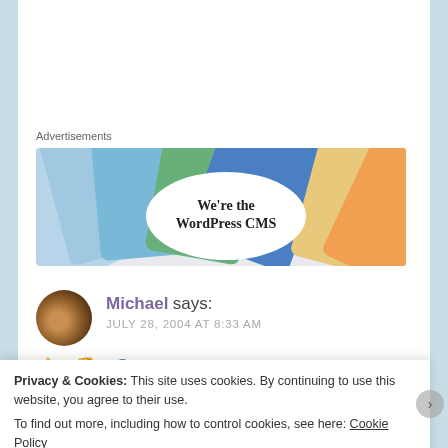[Figure (photo): Advertisement banner for WordPress CMS showing social media brand cards (Meta, Facebook) with text 'We're the WordPress CMS']
Michael says:
JULY 28, 2004 AT 8:33 AM
👍 0 👎 0 ℹ Rate This
Amanda, I have no idea. I know almost nothing
Privacy & Cookies: This site uses cookies. By continuing to use this website, you agree to their use.
To find out more, including how to control cookies, see here: Cookie Policy
Close and accept